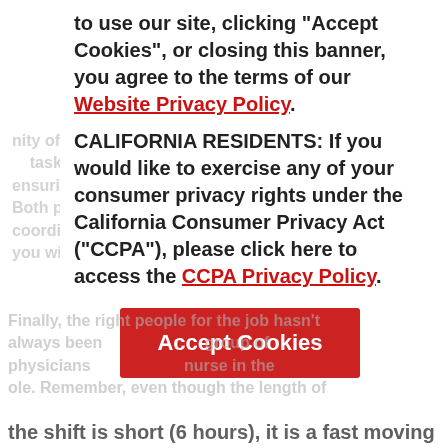to use our site, clicking "Accept Cookies", or closing this banner, you agree to the terms of our Website Privacy Policy.
CALIFORNIA RESIDENTS: If you would like to exercise any of your consumer privacy rights under the California Consumer Privacy Act ("CCPA"), please click here to access the CCPA Privacy Policy.
Accept Cookies
the shift is short (6 hours), it is a fast moving